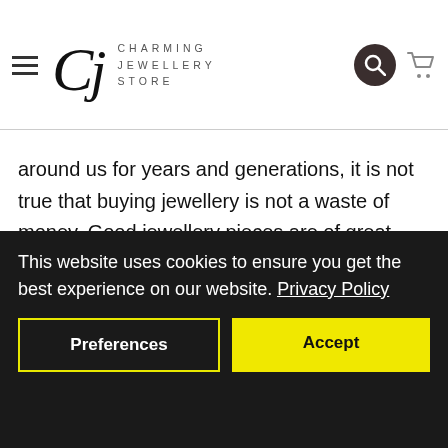Charming Jewellery Store
around us for years and generations, it is not true that buying jewellery is not a waste of money. Good jewellery pieces are of great significance to people across generations, and their value can increase over time, making it a worthy investment that many people are considering nowadays.
For more information about personalised jewellery pieces, you
This website uses cookies to ensure you get the best experience on our website. Privacy Policy
Preferences
Accept